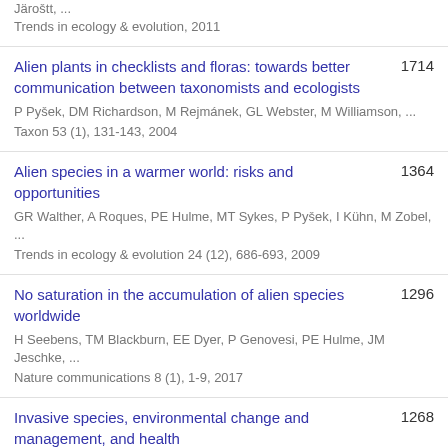Järoštt, ...
Trends in ecology & evolution, 2011
Alien plants in checklists and floras: towards better communication between taxonomists and ecologists | 1714
P Pyšek, DM Richardson, M Rejmánek, GL Webster, M Williamson, ...
Taxon 53 (1), 131-143, 2004
Alien species in a warmer world: risks and opportunities | 1364
GR Walther, A Roques, PE Hulme, MT Sykes, P Pyšek, I Kühn, M Zobel, ...
Trends in ecology & evolution 24 (12), 686-693, 2009
No saturation in the accumulation of alien species worldwide | 1296
H Seebens, TM Blackburn, EE Dyer, P Genovesi, PE Hulme, JM Jeschke, ...
Nature communications 8 (1), 1-9, 2017
Invasive species, environmental change and management, and health | 1268